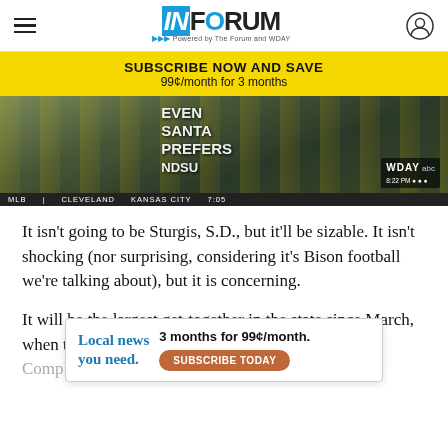InForum — Powered by The Forum and WDAY
[Figure (infographic): Yellow subscribe banner: SUBSCRIBE NOW AND SAVE, 99¢/month for 3 months]
[Figure (photo): Sports fans in yellow and black Bison gear holding a sign reading EVEN SANTA PREFERS NDSU, with WDAY abc TV bug and MLB ticker showing Cleveland vs Kansas City 7:05]
It isn't going to be Sturgis, S.D., but it'll be sizable. It isn't shocking (nor surprising, considering it's Bison football we're talking about), but it is concerning.
It will be the largest get-together in the state since March, when the Class A high school basketball tourn[ament at the Scheels Arena/FargoDome complex on the NDST campus] was suspended
[Figure (infographic): Advertisement overlay: Local news you need. 3 months for 99¢/month. SUBSCRIBE TODAY button]